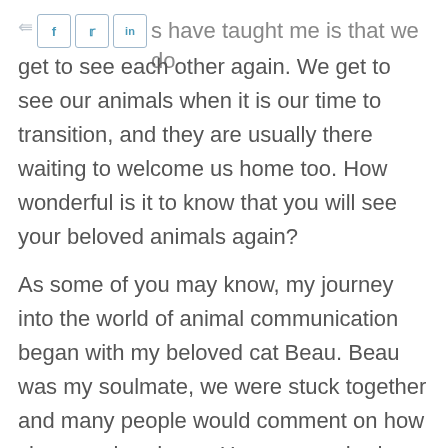s have taught me is that we do get to see each other again. We get to see our animals when it is our time to transition, and they are usually there waiting to welcome us home too. How wonderful is it to know that you will see your beloved animals again?
As some of you may know, my journey into the world of animal communication began with my beloved cat Beau. Beau was my soulmate, we were stuck together and many people would comment on how close our bond was. He was my shadow, as many of you know how that feels. Beau was only 13 months old when he